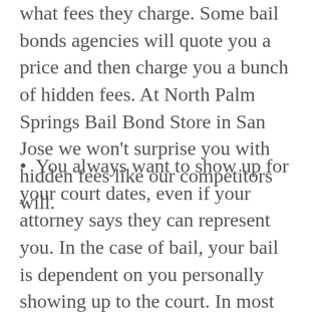what fees they charge. Some bail bonds agencies will quote you a price and then charge you a bunch of hidden fees. At North Palm Springs Bail Bond Store in San Jose we won't surprise you with hidden fees like our competitors will.
You always want to show up for your court dates, even if your attorney says they can represent you. In the case of bail, your bail is dependent on you personally showing up to the court. In most cases if you do not show up to court you forfeit the bail.
You always want to check a prospective bail bond agent's license on the Department of Insurance's website. The exact web address to do